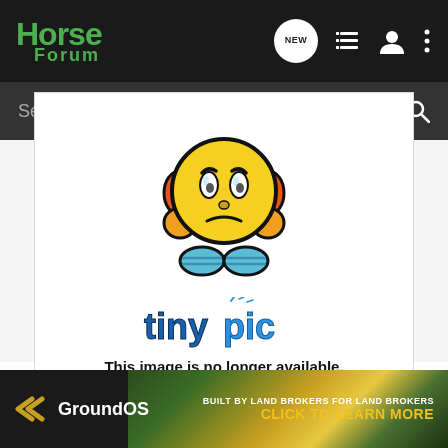Horse Forum — navigation bar with NEW button, list icon, user icon, menu icon
Search Community
[Figure (illustration): Tinypic broken image placeholder: sad yellow emoji character with orange ear-muffs and blue hands, above the 'tinypic' logo text. Below reads: 'This image is no longer available. Visit tinypic.com for more information.']
[Figure (illustration): GroundOS advertisement banner with chevron logo: 'BUILT BY LAND BROKERS FOR LAND BROKERS — CLICK TO LEARN MORE']